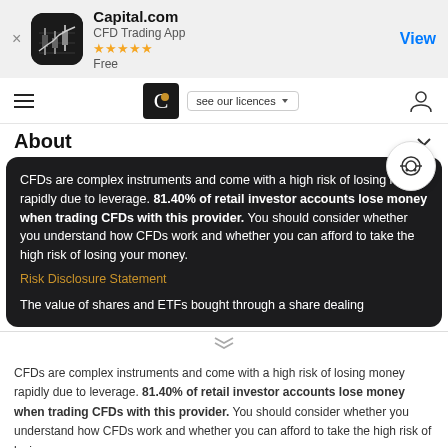[Figure (screenshot): App store banner showing Capital.com CFD Trading App with 5 star rating, Free price, and View button]
[Figure (logo): Capital.com navigation bar with hamburger menu, logo, see our licences button, and user icon]
About
CFDs are complex instruments and come with a high risk of losing money rapidly due to leverage. 81.40% of retail investor accounts lose money when trading CFDs with this provider. You should consider whether you understand how CFDs work and whether you can afford to take the high risk of losing your money. Risk Disclosure Statement

The value of shares and ETFs bought through a share dealing
CFDs are complex instruments and come with a high risk of losing money rapidly due to leverage. 81.40% of retail investor accounts lose money when trading CFDs with this provider. You should consider whether you understand how CFDs work and whether you can afford to take the high risk of losing your money.
By using the Capital.com website you agree to the use of cookies.